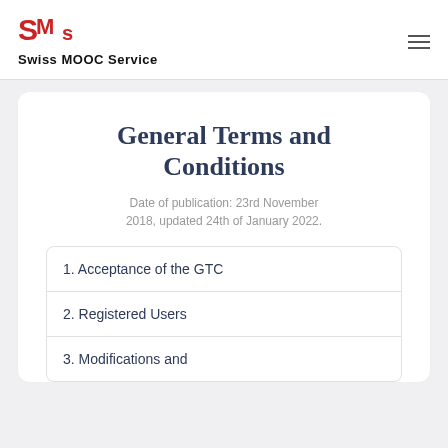Swiss MOOC Service
General Terms and Conditions
Date of publication: 23rd November 2018, updated 24th of January 2022.
1. Acceptance of the GTC
2. Registered Users
3. Modifications and